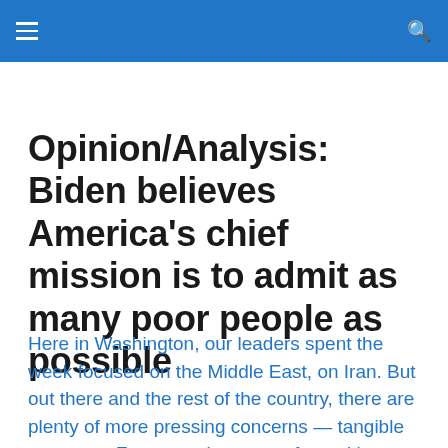Opinion/Analysis: Biden believes America's chief mission is to admit as many poor people as possible
Here in Washington, our leaders spent the week focused on the Middle East, on Iran. But out there and the rest of the country, there are plenty of more pressing concerns — tangible concerns. For example, many of our cities are starting to fail. Infrastructure is aging; both crime and the